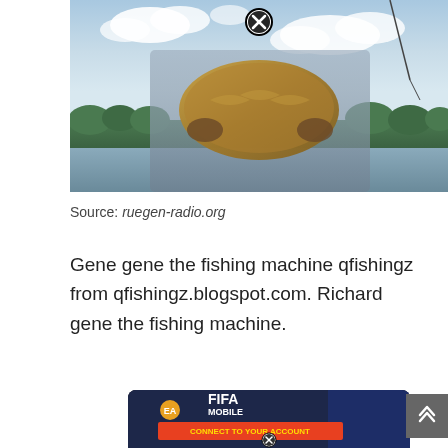[Figure (photo): Person holding a fish (bass) up toward the camera outdoors near a lake, with a fishing rod visible and a cloudy sky background. A circular close/X button overlay is visible at the top center.]
Source: ruegen-radio.org
Gene gene the fishing machine qfishingz from qfishingz.blogspot.com. Richard gene the fishing machine.
[Figure (screenshot): Advertisement screenshot showing FIFA Mobile game with 'Connect to Your Account' banner. EA Sports logo visible. A close/X button overlay at the bottom center. Partially cropped at bottom.]